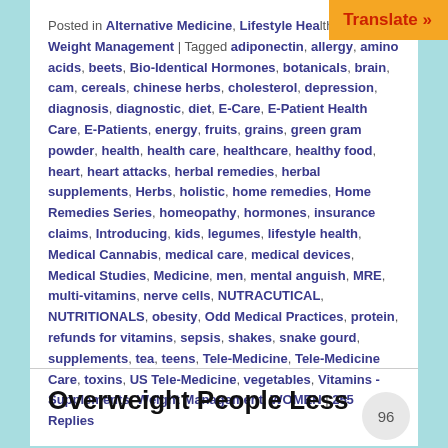Posted in Alternative Medicine, Lifestyle Health Studies, Weight Management | Tagged adiponectin, allergy, amino acids, beets, Bio-Identical Hormones, botanicals, brain, cam, cereals, chinese herbs, cholesterol, depression, diagnosis, diagnostic, diet, E-Care, E-Patient Health Care, E-Patients, energy, fruits, grains, green gram powder, health, health care, healthcare, healthy food, heart, heart attacks, herbal remedies, herbal supplements, Herbs, holistic, home remedies, Home Remedies Series, homeopathy, hormones, insurance claims, Introducing, kids, legumes, lifestyle health, Medical Cannabis, medical care, medical devices, Medical Studies, Medicine, men, mental anguish, MRE, multi-vitamins, nerve cells, NUTRACUTICAL, NUTRITIONALS, obesity, Odd Medical Practices, protein, refunds for vitamins, sepsis, shakes, snake gourd, supplements, tea, teens, Tele-Medicine, Tele-Medicine Care, toxins, US Tele-Medicine, vegetables, Vitamins - Supplements, Weight Management, WOMEN | 255 Replies
Overweight People Less